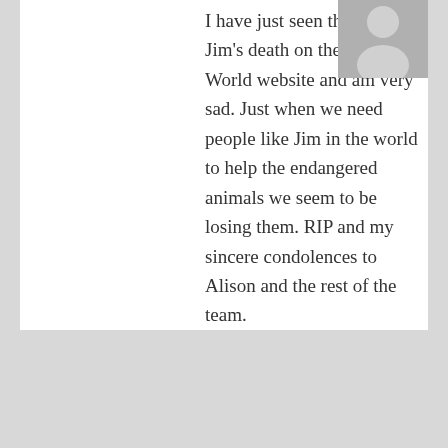I have just seen the news of Jim's death on the Monkey World website and am very sad. Just when we need people like Jim in the world to help the endangered animals we seem to be losing them. RIP and my sincere condolences to Alison and the rest of the team.
Reply ↓
karen August 15, 2007 at 7:19 am
oh wow wat a shock ive just seen the news on the